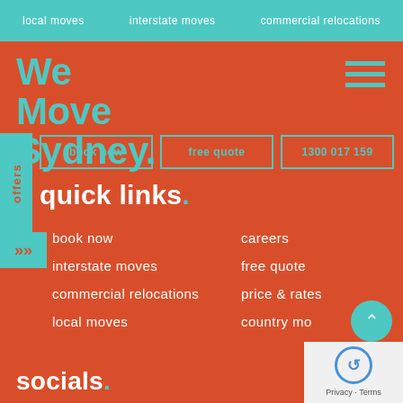local moves   interstate moves   commercial relocations
We Move Sydney.
book now   free quote   1300 017 159
offers
quick links.
book now
careers
interstate moves
free quote
commercial relocations
price & rates
local moves
country mo...
socials.